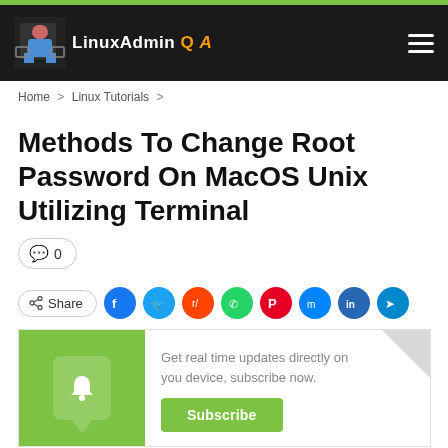LinuxAdmin Q A
Home > Linux Tutorials >
Methods To Change Root Password On MacOS Unix Utilizing Terminal
💬 0
Share (social icons: Facebook, Twitter, Reddit, WhatsApp, Pinterest, Messenger, LinkedIn, Telegram)
Get real time updates directly on you device, subscribe now. Subscribe